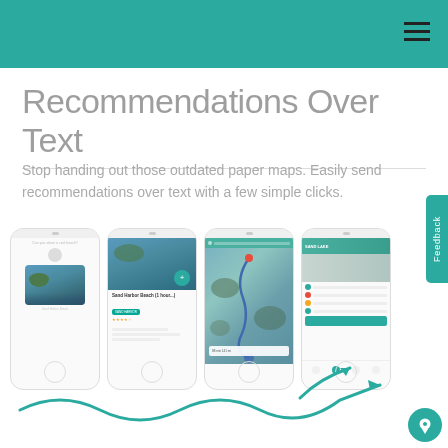Recommendations Over Text
Stop handing out those outdated paper maps. Easily send recommendations over text with a few simple clicks.
[Figure (screenshot): Four smartphone screens showing an app flow: (1) a chat interface with a lake photo, (2) a location detail page for Sand Harbor Beach with photo and reviews, (3) a map view with a route, (4) a list/sharing view with location options and a teal arrow pointing to a share button. A teal wavy arrow connects the phones left to right.]